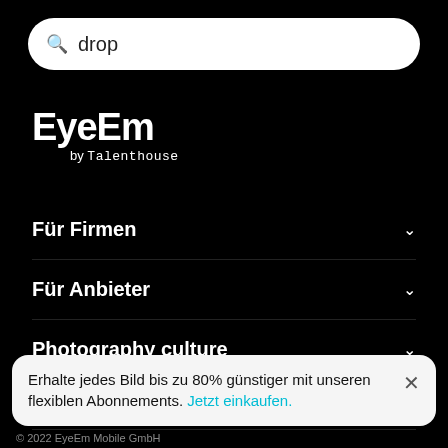[Figure (screenshot): Search bar with magnifying glass icon and query text 'drop' on white rounded rectangle background]
EyeEm by Talenthouse
Für Firmen
Für Anbieter
Photography culture
Über EyeEm
Erhalte jedes Bild bis zu 80% günstiger mit unseren flexiblen Abonnements. Jetzt einkaufen.
© 2022 EyeEm Mobile GmbH